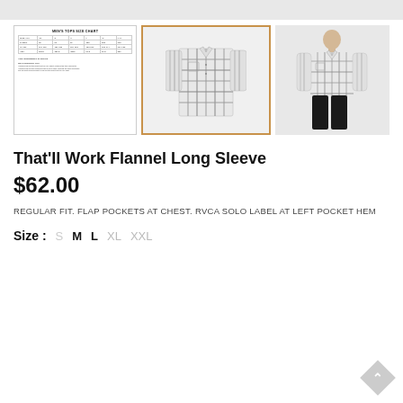[Figure (photo): Top gray banner strip]
[Figure (table-as-image): Men's Tops Size Chart thumbnail showing a table with sizes XS, S, M, L, XL, XXL and measurements]
[Figure (photo): Main product image: That'll Work Flannel Long Sleeve shirt in white/grey plaid pattern, displayed flat with orange border frame]
[Figure (photo): Model wearing the That'll Work Flannel Long Sleeve shirt in white/grey plaid pattern with black pants]
That'll Work Flannel Long Sleeve
$62.00
REGULAR FIT. FLAP POCKETS AT CHEST. RVCA SOLO LABEL AT LEFT POCKET HEM
Size :  S  M  L  XL  XXL